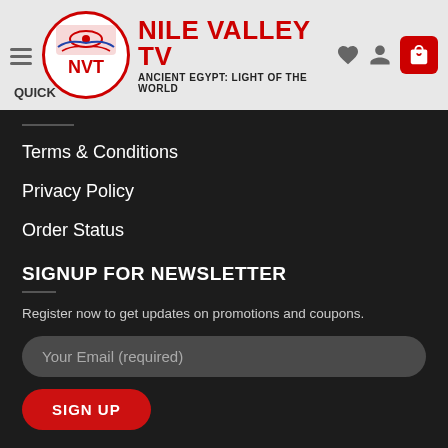[Figure (logo): Nile Valley TV logo with NVT circle emblem, red text reading NILE VALLEY TV, subtitle ANCIENT EGYPT: LIGHT OF THE WORLD]
QUICK
Terms & Conditions
Privacy Policy
Order Status
SIGNUP FOR NEWSLETTER
Register now to get updates on promotions and coupons.
Your Email (required)
SIGN UP